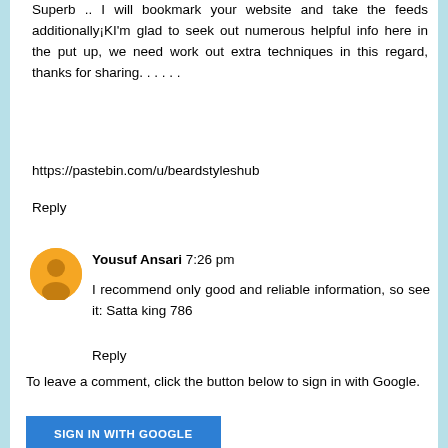Superb .. I will bookmark your website and take the feeds additionally¡KI'm glad to seek out numerous helpful info here in the put up, we need work out extra techniques in this regard, thanks for sharing. . . . . .
https://pastebin.com/u/beardstyleshub
Reply
Yousuf Ansari  7:26 pm
I recommend only good and reliable information, so see it: Satta king 786
Reply
To leave a comment, click the button below to sign in with Google.
SIGN IN WITH GOOGLE